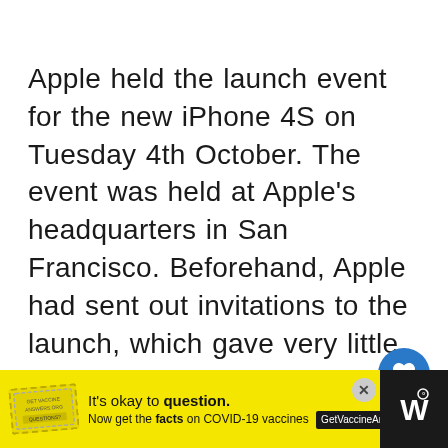Apple held the launch event for the new iPhone 4S on Tuesday 4th October. The event was held at Apple's headquarters in San Francisco. Beforehand, Apple had sent out invitations to the launch, which gave very little away about the new product. Apple's previous model, the iPhone 4, has become the world's best-selling smartphone since … Read more
[Figure (other): Advertisement banner: yellow background with stamp logo, text 'It's okay to question. Now get the facts on COVID-19 vaccines GetVaccineAnswers.org', close button, and dark logo area on the right.]